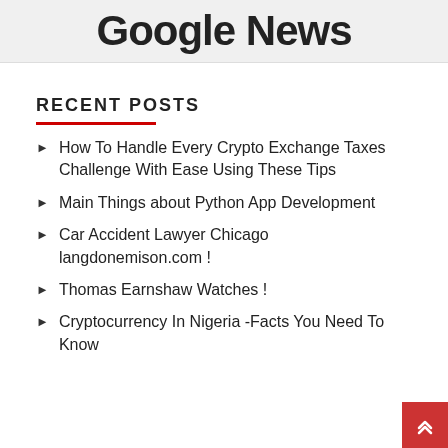[Figure (logo): Google News logo banner on light gray background]
RECENT POSTS
How To Handle Every Crypto Exchange Taxes Challenge With Ease Using These Tips
Main Things about Python App Development
Car Accident Lawyer Chicago langdonemison.com !
Thomas Earnshaw Watches !
Cryptocurrency In Nigeria -Facts You Need To Know